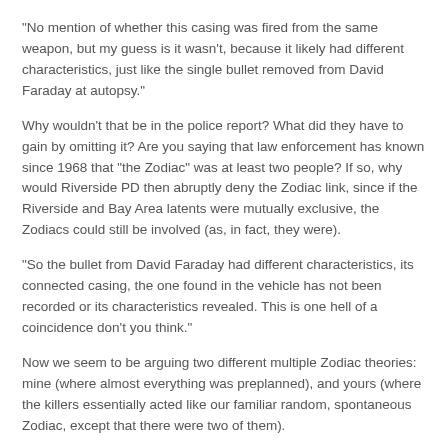"No mention of whether this casing was fired from the same weapon, but my guess is it wasn't, because it likely had different characteristics, just like the single bullet removed from David Faraday at autopsy."
Why wouldn't that be in the police report? What did they have to gain by omitting it? Are you saying that law enforcement has known since 1968 that "the Zodiac" was at least two people? If so, why would Riverside PD then abruptly deny the Zodiac link, since if the Riverside and Bay Area latents were mutually exclusive, the Zodiacs could still be involved (as, in fact, they were).
"So the bullet from David Faraday had different characteristics, its connected casing, the one found in the vehicle has not been recorded or its characteristics revealed. This is one hell of a coincidence don't you think."
Now we seem to be arguing two different multiple Zodiac theories: mine (where almost everything was preplanned), and yours (where the killers essentially acted like our familiar random, spontaneous Zodiac, except that there were two of them).